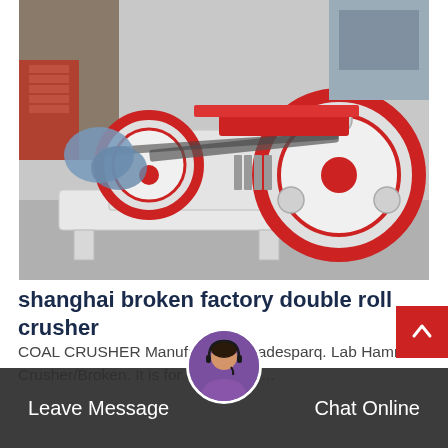[Figure (photo): A large industrial double roll crusher machine with red and white color scheme, placed on a flat surface outdoors. The machine has two large circular fly wheels with holes, mounted on a white metal frame. Various cables and covers are visible.]
shanghai broken factory double roll crusher
COAL CRUSHER Manufacturers tradesparq. Lab Hammer Crusher/Broken. It is for the mining,...
Leave Message | Chat Online